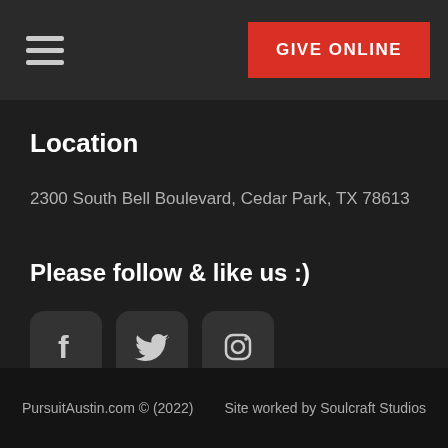GIVE ONLINE
Location
2300 South Bell Boulevard, Cedar Park, TX 78613
Please follow & like us :)
[Figure (illustration): Social media icons: Facebook, Twitter, Instagram]
PursuitAustin.com © (2022)    Site worked by Soulcraft Studios